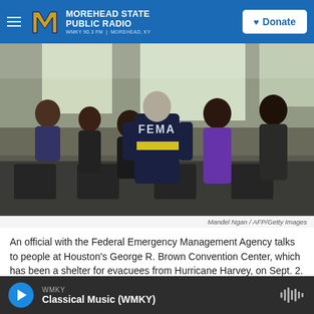Morehead State Public Radio — WMKY 90.3 FM | Morehead, KY
[Figure (photo): A FEMA official wearing a dark navy vest with 'FEMA' printed on the back and a yellow reflective stripe walks among people seated at tables inside Houston's George R. Brown Convention Center, used as a Hurricane Harvey evacuee shelter.]
Mandel Ngan / AFP/Getty Images
An official with the Federal Emergency Management Agency talks to people at Houston's George R. Brown Convention Center, which has been a shelter for evacuees from Hurricane Harvey, on Sept. 2.
WMKY — Classical Music (WMKY)